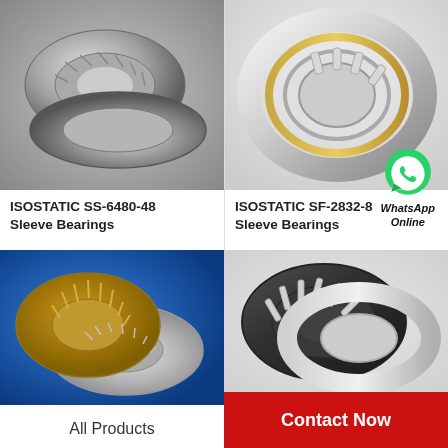[Figure (photo): ISOSTATIC SS-6480-48 tapered roller bearing, two pieces, silver/grey metallic, on grey background]
[Figure (photo): ISOSTATIC SF-2832-8 cylindrical roller bearing, silver with gold accent, on white background]
ISOSTATIC SS-6480-48 Sleeve Bearings
ISOSTATIC SF-2832-8 Sleeve Bearings
[Figure (photo): Thrust bearing with two flat ring components, silver and gold/brass coloured, on blue background]
[Figure (photo): WhatsApp Online logo/icon — green speech bubble with phone handset]
[Figure (photo): Dark needle roller bearing, two interlocked rings, black and silver, on white background]
All Products
Contact Now